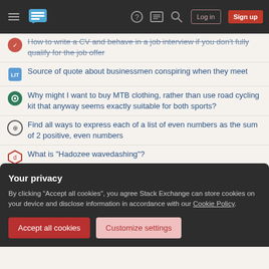Stack Exchange navigation bar with Log in and Sign up buttons
How to write a CV and behave in a job interview if you don't fully qualify for the job offer
Source of quote about businessmen conspiring when they meet
Why might I want to buy MTB clothing, rather than use road cycling kit that anyway seems exactly suitable for both sports?
Find all ways to express each of a list of even numbers as the sum of 2 positive, even numbers
What is "Hadozee wavedashing"?
In MS-DOS, how much stack do I need to make an int21 call?
Why would Sam NOT note the date when his own daughter was born?
Drawing a parallelopiped in TikZ
Your privacy
By clicking "Accept all cookies", you agree Stack Exchange can store cookies on your device and disclose information in accordance with our Cookie Policy.